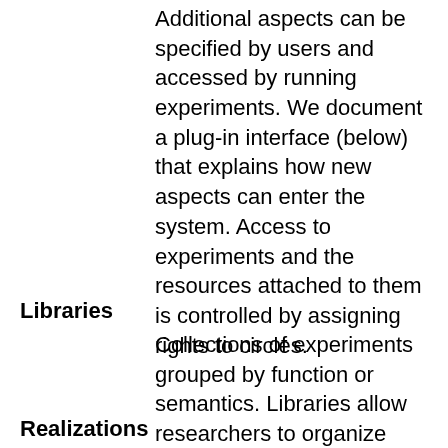Additional aspects can be specified by users and accessed by running experiments. We document a plug-in interface (below) that explains how new aspects can enter the system. Access to experiments and the resources attached to them is controlled by assigning rights to circles.
Libraries
Collections of experiments grouped by function or semantics. Libraries allow researchers to organize their experiments and share them with other researchers (by assigning rights to circles).
Realizations